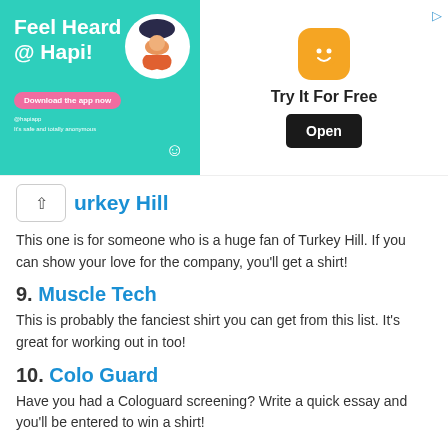[Figure (illustration): Advertisement banner for Hapi app with teal background, person illustration, smiley face icon, 'Try It For Free' text, and 'Open' button]
Turkey Hill
This one is for someone who is a huge fan of Turkey Hill. If you can show your love for the company, you'll get a shirt!
9. Muscle Tech
This is probably the fanciest shirt you can get from this list. It's great for working out in too!
10. Colo Guard
Have you had a Cologuard screening? Write a quick essay and you'll be entered to win a shirt!